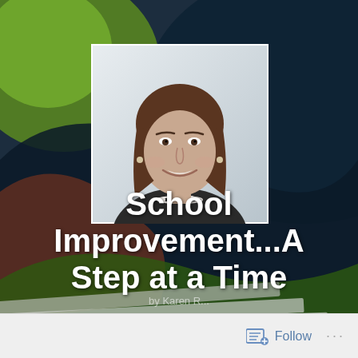[Figure (photo): Background with dark navy/teal and green decorative swirling shapes with book/paper elements at bottom]
[Figure (photo): Portrait photo of a smiling woman with shoulder-length brown hair wearing a black jacket and pearl necklace, set against a light background]
School Improvement...A Step at a Time
by Karen R...
Follow ...